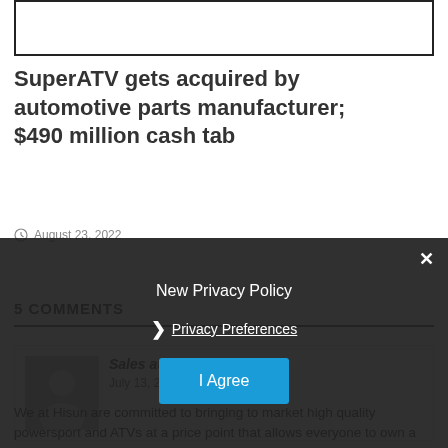[Figure (other): White rectangle with thick black border, partial image placeholder at top of page]
SuperATV gets acquired by automotive parts manufacturer; $490 million cash tab
August 23, 2022
5 COMMENTS
Sales at Hisun Motors
July 13, 2015 at 10:20 am
We at Hisun are committed to bringing to market high quality powersport and ATVs at a price point that allows everyone to own a machine. If you are interested in becoming a dealer, learning more about our expansive product line, or would just like to learn a little more about what we offer at HISUN, feel free
New Privacy Policy
Privacy Preferences
I Agree